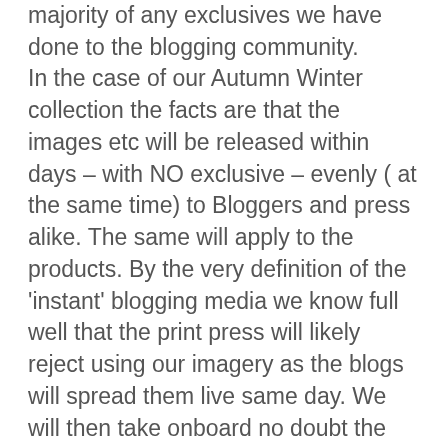majority of any exclusives we have done to the blogging community. In the case of our Autumn Winter collection the facts are that the images etc will be released within days – with NO exclusive – evenly ( at the same time) to Bloggers and press alike. The same will apply to the products. By the very definition of the 'instant' blogging media we know full well that the print press will likely reject using our imagery as the blogs will spread them live same day. We will then take onboard no doubt the same criticism from those print based press as you have laid today at our feet – namely that we support the blogs ahead of them. We accept this. This is what makes your recent post so unfair. Not only isn't it true but worse still in penalises us for the already